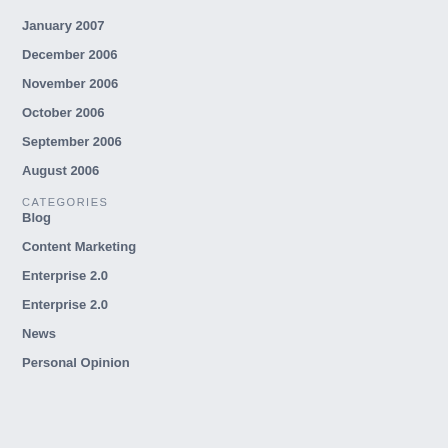January 2007
December 2006
November 2006
October 2006
September 2006
August 2006
CATEGORIES
Blog
Content Marketing
Enterprise 2.0
Enterprise 2.0
News
Personal Opinion